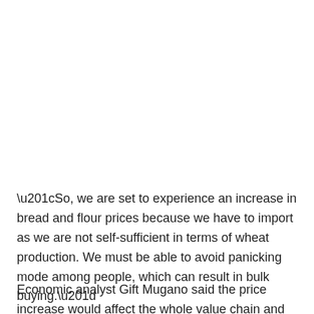“So, we are set to experience an increase in bread and flour prices because we have to import as we are not self-sufficient in terms of wheat production. We must be able to avoid panicking mode among people, which can result in bulk buying.”
Economic analyst Gift Mugano said the price increase would affect the whole value chain and demand for foreign